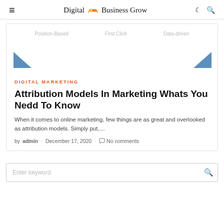Digital Business Grow
[Figure (illustration): Article preview image showing attribution model labels: Position-Based, First Click, Data-driven, with blue triangle arrows on left and right sides]
DIGITAL MARKETING
Attribution Models In Marketing Whats You Nedd To Know
When it comes to online marketing, few things are as great and overlooked as attribution models. Simply put,...
by admin · December 17, 2020 · No comments